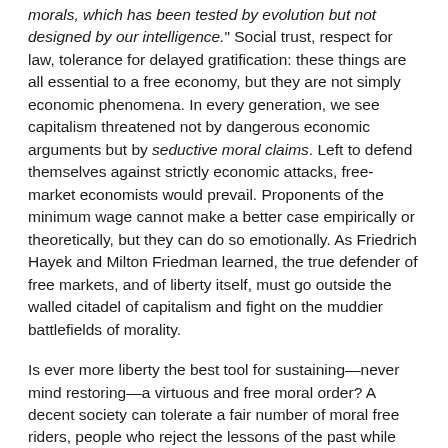morals, which has been tested by evolution but not designed by our intelligence." Social trust, respect for law, tolerance for delayed gratification: these things are all essential to a free economy, but they are not simply economic phenomena. In every generation, we see capitalism threatened not by dangerous economic arguments but by seductive moral claims. Left to defend themselves against strictly economic attacks, free-market economists would prevail. Proponents of the minimum wage cannot make a better case empirically or theoretically, but they can do so emotionally. As Friedrich Hayek and Milton Friedman learned, the true defender of free markets, and of liberty itself, must go outside the walled citadel of capitalism and fight on the muddier battlefields of morality.
Is ever more liberty the best tool for sustaining—never mind restoring—a virtuous and free moral order? A decent society can tolerate a fair number of moral free riders, people who reject the lessons of the past while enjoying the prosperity and order provided and sustained by others. But eventually the logic of the tragedy of the commons kicks in. Every civilization must take seriously how the next generation shall